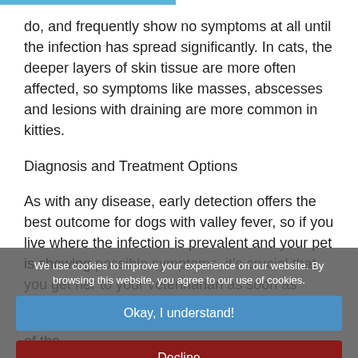do, and frequently show no symptoms at all until the infection has spread significantly. In cats, the deeper layers of skin tissue are more often affected, so symptoms like masses, abscesses and lesions with draining are more common in kitties.
Diagnosis and Treatment Options
As with any disease, early detection offers the best outcome for dogs with valley fever, so if you live where the infection is prevalent and your pet is showing possible symptoms, it's crucial that you get her to your veterinarian as soon as possible. Your vet will perform a careful physical exam and order a complete blood
We use cookies to improve your experience on our website. By browsing this website, you agree to our use of cookies.
Okay, I understand!
Decline
More Info
Treatment of valley fever depends on the extent of the